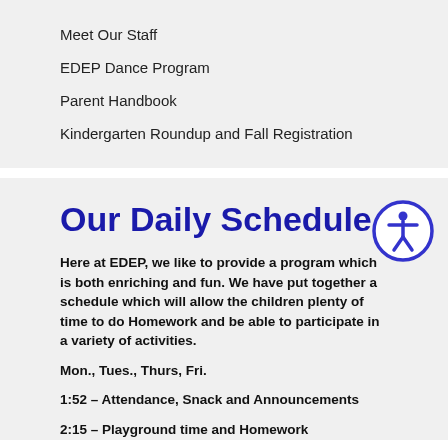Meet Our Staff
EDEP Dance Program
Parent Handbook
Kindergarten Roundup and Fall Registration
Our Daily Schedule
Here at EDEP, we like to provide a program which is both enriching and fun. We have put together a schedule which will allow the children plenty of time to do Homework and be able to participate in a variety of activities.
Mon., Tues., Thurs, Fri.
1:52 – Attendance, Snack and Announcements
2:15 – Playground time and Homework